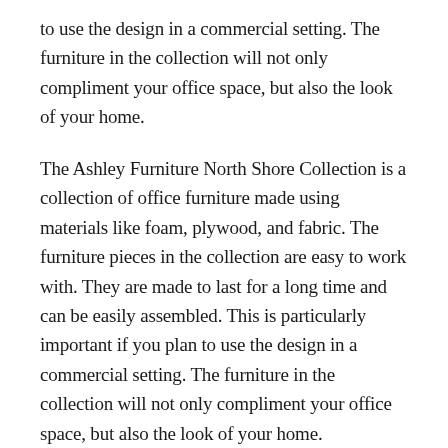to use the design in a commercial setting. The furniture in the collection will not only compliment your office space, but also the look of your home.
The Ashley Furniture North Shore Collection is a collection of office furniture made using materials like foam, plywood, and fabric. The furniture pieces in the collection are easy to work with. They are made to last for a long time and can be easily assembled. This is particularly important if you plan to use the design in a commercial setting. The furniture in the collection will not only compliment your office space, but also the look of your home.
What if you could buy a brand new, well-loved, well-designed piece of furniture and leave it in your garage for a few years and never have to come back to it? That's the idea behind the Ashley Furniture North Shore collection.